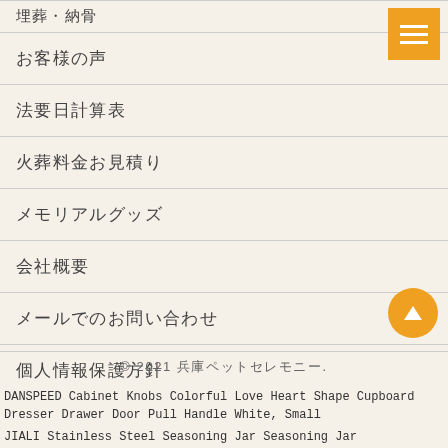埋葬・納骨
お客様の声
法要日計算表
火葬料金お見積り
メモリアルグッズ
会社概要
メールでのお問い合わせ
個人情報保護方針
© 2021 兵庫ペットセレモニー.
DANSPEED Cabinet Knobs Colorful Love Heart Shape Cupboard Dresser Drawer Door Pull Handle White, Small
JIALI Stainless Steel Seasoning Jar Seasoning Jar